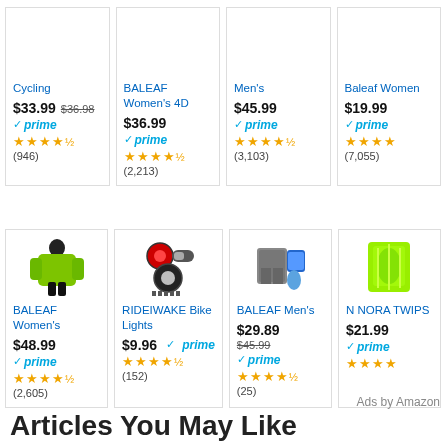[Figure (screenshot): Amazon product grid showing cycling/sports products with prices, Prime badges, star ratings, and review counts. Row 1: Cycling item $33.99 (946 reviews), BALEAF Women's 4D $36.99 (2,213 reviews), Men's $45.99 (3,103 reviews), Baleaf Women's $19.99 (7,055 reviews). Row 2: BALEAF Women's $48.99 (2,605 reviews), RIDEIWAKE Bike Lights $9.96 (152 reviews), BALEAF Men's $29.89 (25 reviews), N NORA TWIPS $21.99. Ads by Amazon label. Articles You May Like section header.]